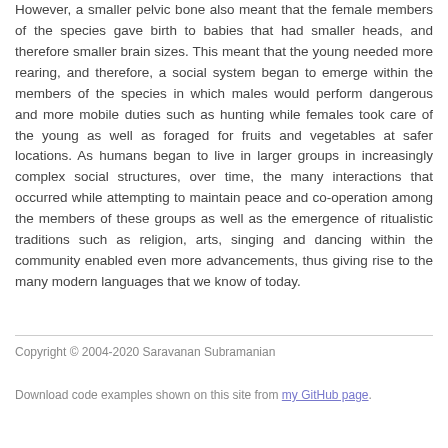However, a smaller pelvic bone also meant that the female members of the species gave birth to babies that had smaller heads, and therefore smaller brain sizes. This meant that the young needed more rearing, and therefore, a social system began to emerge within the members of the species in which males would perform dangerous and more mobile duties such as hunting while females took care of the young as well as foraged for fruits and vegetables at safer locations. As humans began to live in larger groups in increasingly complex social structures, over time, the many interactions that occurred while attempting to maintain peace and co-operation among the members of these groups as well as the emergence of ritualistic traditions such as religion, arts, singing and dancing within the community enabled even more advancements, thus giving rise to the many modern languages that we know of today.
Copyright © 2004-2020 Saravanan Subramanian
Download code examples shown on this site from my GitHub page.